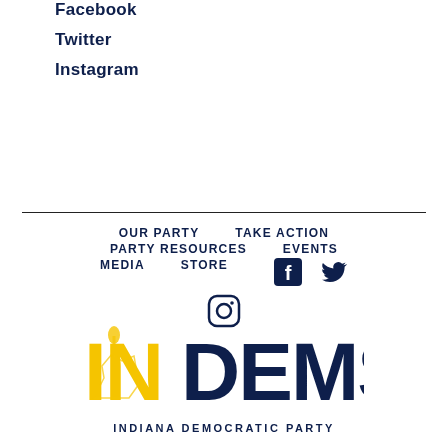Facebook
Twitter
Instagram
Our Party   Take Action   Party Resources   Events   Media   Store
[Figure (logo): Indiana Democrats (IN DEMS) logo with yellow torch/state outline and dark navy DEMS text]
INDIANA DEMOCRATIC PARTY